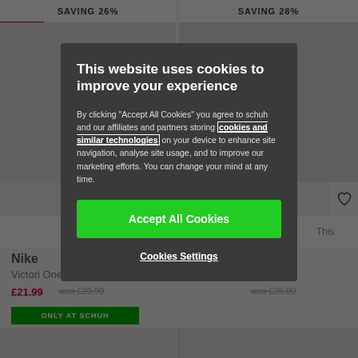[Figure (screenshot): E-commerce product listing page background showing shoes with SAVING 26% and SAVING 28% banners, product names Nike Victori One, prices £21.99, Quickbuy buttons, More Like This buttons, and heart/wishlist icons]
This website uses cookies to improve your experience
By clicking "Accept All Cookies" you agree to schuh and our affiliates and partners storing cookies and similar technologies on your device to enhance site navigation, analyse site usage, and to improve our marketing efforts. You can change your mind at any time.
Accept All Cookies
Cookies Settings